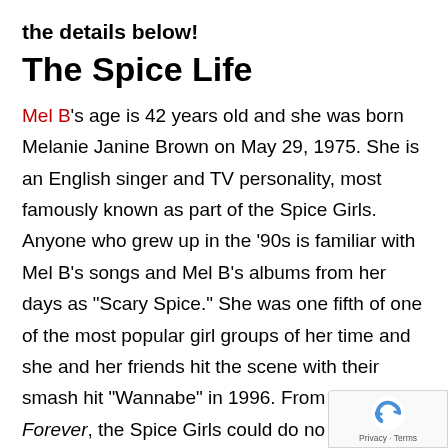the details below!
The Spice Life
Mel B's age is 42 years old and she was born Melanie Janine Brown on May 29, 1975. She is an English singer and TV personality, most famously known as part of the Spice Girls. Anyone who grew up in the ‘90s is familiar with Mel B’s songs and Mel B’s albums from her days as “Scary Spice.” She was one fifth of one of the most popular girl groups of her time and she and her friends hit the scene with their smash hit “Wannabe” in 1996. From Spice to Forever, the Spice Girls could do no wrong after the departure of Geri Halliwell, also known as “Ginger Spice.”